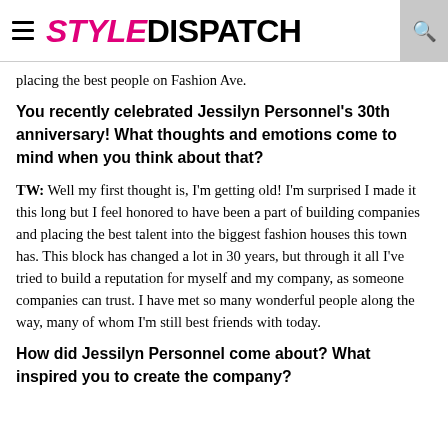STYLEDISPATCH
placing the best people on Fashion Ave.
You recently celebrated Jessilyn Personnel's 30th anniversary! What thoughts and emotions come to mind when you think about that?
TW: Well my first thought is, I'm getting old! I'm surprised I made it this long but I feel honored to have been a part of building companies and placing the best talent into the biggest fashion houses this town has. This block has changed a lot in 30 years, but through it all I've tried to build a reputation for myself and my company, as someone companies can trust. I have met so many wonderful people along the way, many of whom I'm still best friends with today.
How did Jessilyn Personnel come about? What inspired you to create the company?